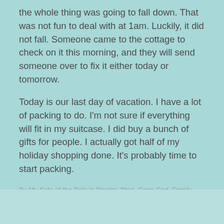the whole thing was going to fall down. That was not fun to deal with at 1am. Luckily, it did not fall. Someone came to the cottage to check on it this morning, and they will send someone over to fix it either today or tomorrow.
Today is our last day of vacation. I have a lot of packing to do. I'm not sure if everything will fit in my suitcase. I did buy a bunch of gifts for people. I actually got half of my holiday shopping done. It's probably time to start packing.
By My Side of the Pole in Bipolar, Blog, Cape Cod, Family, Friends, Gifts, Packing, Storm, Vacations | August 19, 2017 | 245 Words | 2 Comments